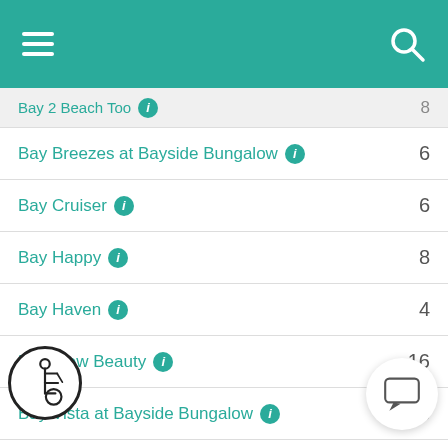App navigation header with hamburger menu and search icon
Bay 2 Beach Too  [info] — 8 (partial, cut off at top)
Bay Breezes at Bayside Bungalow [info] — 6
Bay Cruiser [info] — 6
Bay Happy [info] — 8
Bay Haven [info] — 4
Bay View Beauty [info] — 16
Bay Vista at Bayside Bungalow [info] — 6
Bayfront Paradise [info] — 10
Bayfront Retreat [info] — 1? (partially obscured)
...shore Charmer [info] — 8 (partially obscured)